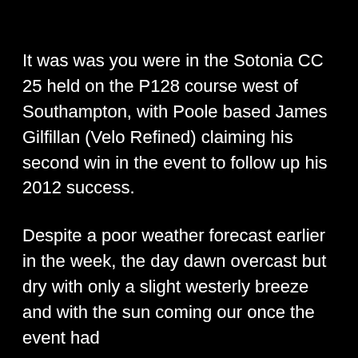It was was you were in the Sotonia CC 25 held on the P128 course west of Southampton, with Poole based James Gilfillan (Velo Refined) claiming his second win in the event to follow up his 2012 success.
Despite a poor weather forecast earlier in the week, the day dawn overcast but dry with only a slight westerly breeze and with the sun coming our once the event had